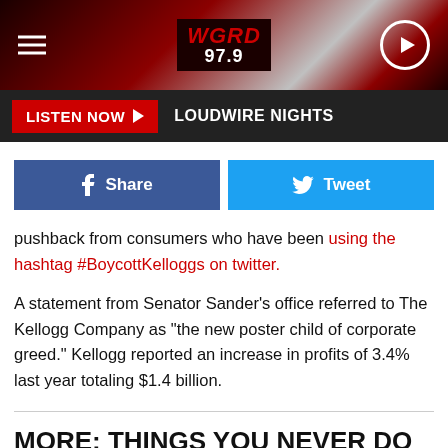[Figure (screenshot): WGRD 97.9 radio station website header with logo, hamburger menu, and play button on dark red gradient background]
LISTEN NOW ▶  LOUDWIRE NIGHTS
pushback from consumers who have been using the hashtag #BoycottKelloggs on twitter.
A statement from Senator Sander's office referred to The Kellogg Company as "the new poster child of corporate greed." Kellogg reported an increase in profits of 3.4% last year totaling $1.4 billion.
MORE: THINGS YOU NEVER DO IN MICHIGAN